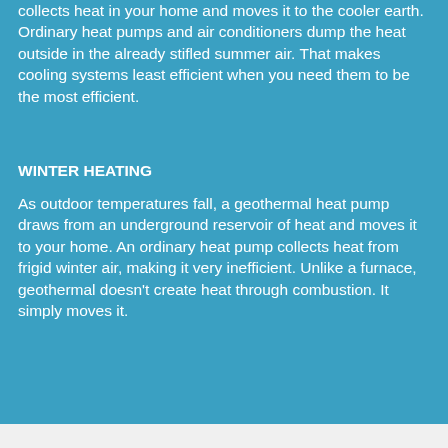collects heat in your home and moves it to the cooler earth. Ordinary heat pumps and air conditioners dump the heat outside in the already stifled summer air. That makes cooling systems least efficient when you need them to be the most efficient.
WINTER HEATING
As outdoor temperatures fall, a geothermal heat pump draws from an underground reservoir of heat and moves it to your home. An ordinary heat pump collects heat from frigid winter air, making it very inefficient. Unlike a furnace, geothermal doesn't create heat through combustion. It simply moves it.